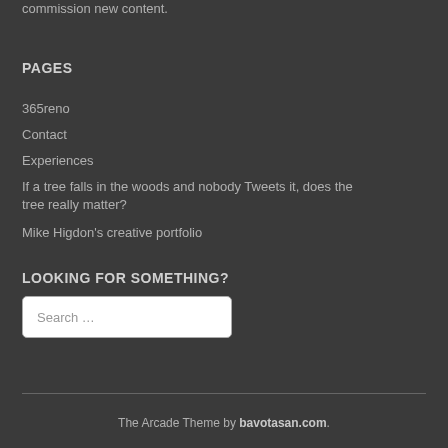commission new content.
PAGES
365reno
Contact
Experiences
If a tree falls in the woods and nobody Tweets it, does the tree really matter?
Mike Higdon's creative portfolio
LOOKING FOR SOMETHING?
Search …
The Arcade Theme by bavotasan.com.